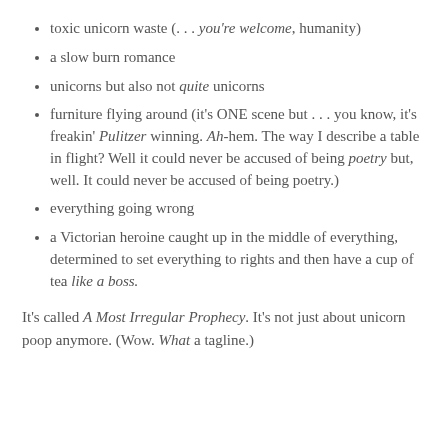toxic unicorn waste (. . . you're welcome, humanity)
a slow burn romance
unicorns but also not quite unicorns
furniture flying around (it's ONE scene but . . . you know, it's freakin' Pulitzer winning. Ah-hem. The way I describe a table in flight? Well it could never be accused of being poetry but, well. It could never be accused of being poetry.)
everything going wrong
a Victorian heroine caught up in the middle of everything, determined to set everything to rights and then have a cup of tea like a boss.
It's called A Most Irregular Prophecy. It's not just about unicorn poop anymore. (Wow. What a tagline.)